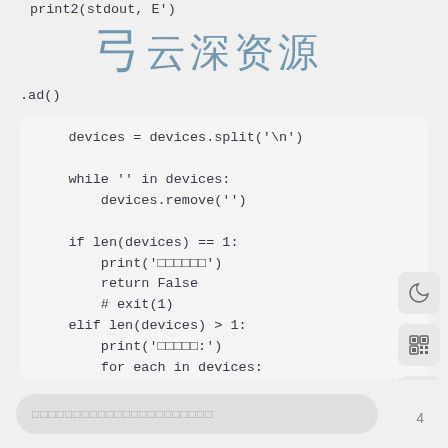[Figure (screenshot): Watermark logo showing Chinese calligraphic text '云深资源' with decorative symbol]
print2(stdout, E')
.ad()
devices = devices.split('\n')

    while '' in devices:
        devices.remove('')

    if len(devices) == 1:
        print('□□□□□□')
        return False
        # exit(1)
    elif len(devices) > 1:
        print('□□□□□:')
        for each in devices:
            print(each)
        return True
except Exception as e:
    print('□□□adb□□□□' + str(e))
    return False

# □□□□□□□
□□□□□□□□□□□□□□□□□□□□□□
4